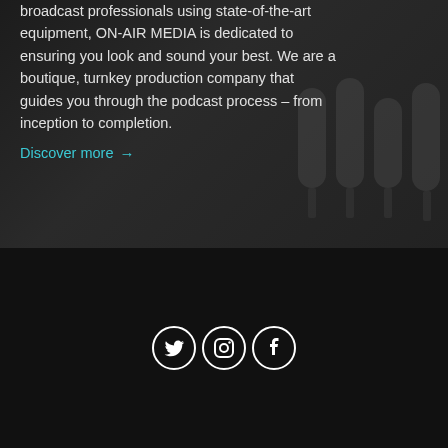broadcast professionals using state-of-the-art equipment, ON-AIR MEDIA is dedicated to ensuring you look and sound your best. We are a boutique, turnkey production company that guides you through the podcast process – from inception to completion.
Discover more →
[Figure (illustration): Social media icons: Twitter, Instagram, Facebook — white icons on dark circular outlines against a very dark background]